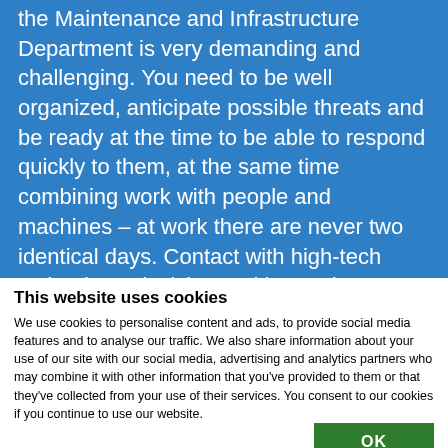the Maintenance and Infrastructure Department is very demanding and challenging. You need to be well organized, anticipate possible threats and be ready at the time to be able to respond quickly to them, at the same time combining work with people and machines – at work there are never two identical days. Contact with high-tech technology, decision-making and independence in management, leadershiping of a great technical team and modern machinery park,
This website uses cookies
We use cookies to personalise content and ads, to provide social media features and to analyse our traffic. We also share information about your use of our site with our social media, advertising and analytics partners who may combine it with other information that you've provided to them or that they've collected from your use of their services. You consent to our cookies if you continue to use our website.